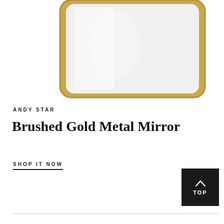[Figure (photo): A rectangular mirror with rounded corners and a brushed gold metal frame, shown on a white background. The upper portion of the mirror is visible, cropped at the top edge of the page.]
ANDY STAR
Brushed Gold Metal Mirror
SHOP IT NOW
[Figure (other): Black square button with upward chevron arrow and the word TOP in white text]